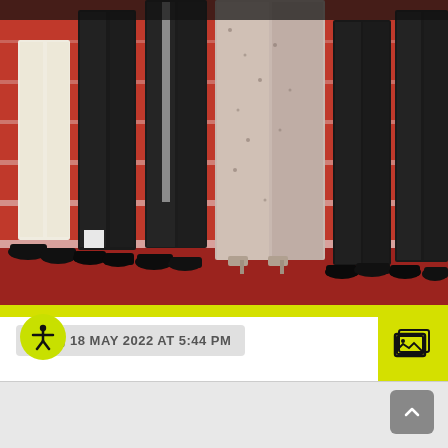[Figure (photo): Lower half of people standing on red carpet stairs at what appears to be the Cannes Film Festival. Visible are legs and feet in formal attire — white/cream trousers, black suits, a sparkly/lace gown — wearing black dress shoes and heels on red steps with white stripe edges.]
WED, 18 MAY 2022 AT 5:44 PM
[Figure (other): Yellow square gallery/slideshow icon button in the top right area]
[Figure (other): Yellow circular accessibility icon button (person with arms extended) in the bottom left]
[Figure (other): Grey rounded square scroll-to-top arrow button in the bottom right footer]